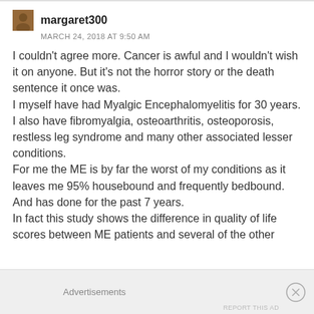[Figure (photo): Small avatar thumbnail of user margaret300 - brownish/warm-toned profile image]
margaret300
MARCH 24, 2018 AT 9:50 AM
I couldn't agree more. Cancer is awful and I wouldn't wish it on anyone. But it's not the horror story or the death sentence it once was.
I myself have had Myalgic Encephalomyelitis for 30 years. I also have fibromyalgia, osteoarthritis, osteoporosis, restless leg syndrome and many other associated lesser conditions.
For me the ME is by far the worst of my conditions as it leaves me 95% housebound and frequently bedbound. And has done for the past 7 years.
In fact this study shows the difference in quality of life scores between ME patients and several of the other
Advertisements